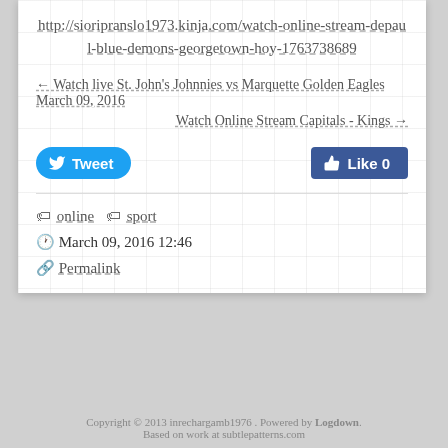http://sioripranslo1973.kinja.com/watch-online-stream-depaul-blue-demons-georgetown-hoy-1763738689
← Watch live St. John's Johnnies vs Marquette Golden Eagles March 09, 2016
Watch Online Stream Capitals - Kings →
[Figure (other): Tweet button (Twitter/blue) and Like 0 button (Facebook/dark blue) social sharing buttons]
online  sport
March 09, 2016 12:46
Permalink
Copyright © 2013 inrechargamb1976 . Powered by Logdown.
Based on work at subtlepatterns.com